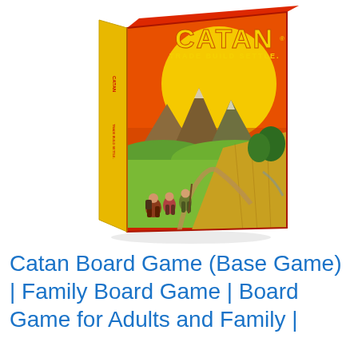[Figure (photo): Product photo of the Catan Board Game box. The box has a red background with the word CATAN in large yellow letters at the top, and 'TRADE BUILD SETTLE.' in yellow below. The box art shows a sunset scene with mountains, green fields, a winding path, golden wheat fields, and three adventurers walking in the foreground. The left spine of the box is visible showing yellow/gold color.]
Catan Board Game (Base Game) | Family Board Game | Board Game for Adults and Family |